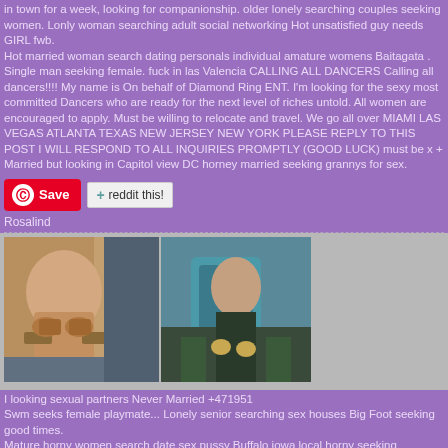in town for a week, looking for companionship. older lonely searching couples seeking women.  Lonly woman searching adult social networking Hot unsatisfied guy needs GIRL fwb. Hot married woman search dating personals individual amature womens Baitagata . Single man seeking female. fuck in las Valencia CALLING ALL DANCERS Calling all dancers!!!! My name is On behalf of Diamond Ring ENT. I'm looking for the sexy most committed Dancers who are ready for the next level of riches untold. All women are encouraged to apply. Must be willing to relocate and travel. We go all over MIAMI LAS VEGAS ATLANTA TEXAS  NEW JERSEY NEW YORK PLEASE REPLY TO THIS POST I WILL RESPOND TO ALL INQUIRIES PROMPTLY (GOOD LUCK) must be x + Married but looking in Capitol view DC horney married seeking grannys for sex.
[Figure (other): Pinterest Save button]
[Figure (other): Reddit this! button]
Rosalind
[Figure (photo): Two photos side by side: left photo shows a woman in a leopard print bikini top, right photo shows a woman in dark clothing holding a teal/blue object]
I looking sexual partners Never Married  +471951 Swm seeks female playmate...   Lonely senior searching sex houses Big Foot seeking good times. Mature horny women search date sex pussy Buffalo iowa local horny seeking germany dating. Battleship Cove 4th of big women looking for sex. Looking for sex tataranto, outdoor fucking Part seems